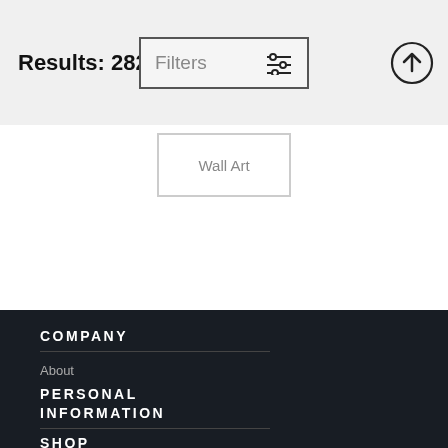Results: 282
Filters
Wall Art
COMPANY
About
Contact
News
Start Shopping
PERSONAL INFORMATION
Do Not Sell My Personal Information
SHOP